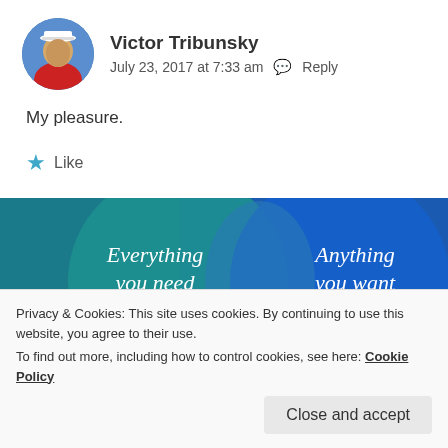Victor Tribunsky
July 23, 2017 at 7:33 am  Reply
My pleasure.
★ Like
[Figure (screenshot): Blue banner image with two overlapping circles (Venn diagram style) showing text 'Everything you need' on the left and 'Anything you want' on the right, with a pink/magenta button at the bottom left.]
Privacy & Cookies: This site uses cookies. By continuing to use this website, you agree to their use.
To find out more, including how to control cookies, see here: Cookie Policy